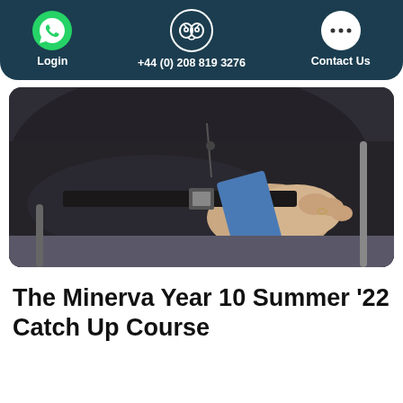Login   +44 (0) 208 819 3276   Contact Us
[Figure (photo): Close-up photo of a person wearing black clothing with a belt, hands clasped together on a desk surface, wearing a ring on one finger. Blue card visible partially.]
The Minerva Year 10 Summer '22 Catch Up Course